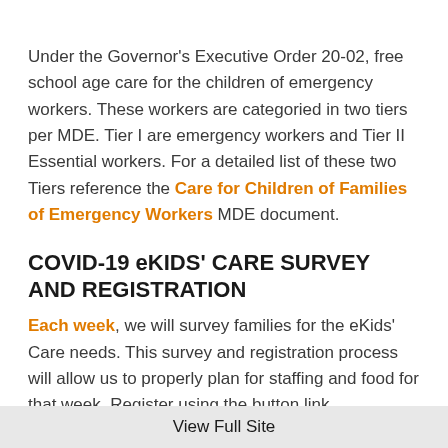Under the Governor's Executive Order 20-02, free school age care for the children of emergency workers. These workers are categoried in two tiers per MDE. Tier I are emergency workers and Tier II Essential workers. For a detailed list of these two Tiers reference the Care for Children of Families of Emergency Workers MDE document.
COVID-19 eKIDS' CARE SURVEY AND REGISTRATION
Each week, we will survey families for the eKids' Care needs. This survey and registration process will allow us to properly plan for staffing and food for that week. Register using the button link
View Full Site